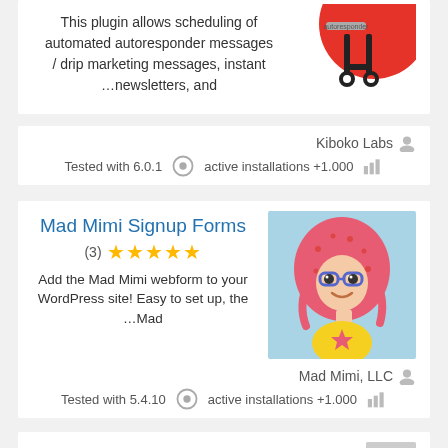This plugin allows scheduling of automated autoresponder messages / drip marketing messages, instant …newsletters, and
Kiboko Labs
Tested with 6.0.1   active installations +1.000
Mad Mimi Signup Forms
(3) ★★★★★
Add the Mad Mimi webform to your WordPress site! Easy to set up, the …Mad
[Figure (illustration): Mad Mimi character illustration: cartoon girl with pink/red hair, glasses, yellow shirt, on light blue background]
Mad Mimi, LLC
Tested with 5.4.10   active installations +1.000
Contact Form 7 GetResponse